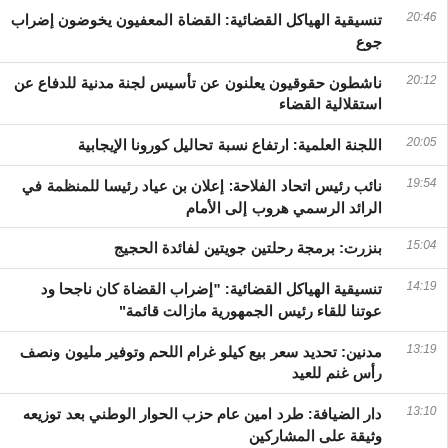20:46 تنسيقية الهياكل القضائية: القضاة المعفيون يخوضون إضراب جوع
20:12 ناشطون حقوقيون يعلنون عن تأسيس لجنة مدنية للدفاع عن استقلالية القضاء
20:05 اللجنة العلمية: ارتفاع نسبة تحاليل كورونا الإيجابية
19:54 نائب رئيس اتحاد الفلاحة: إعلان بن عياد رئيسا للمنظمة في الرائد الرسمي هروب إلى الأمام
15:04 بنزرت: برمجة رحلتين جويتين لفائدة الحجيج
14:19 تنسيقية الهياكل القضائية: "إضراب القضاة كان ناجحا ود عوتنا للقاء رئيس الجمهورية مازالت قائمة"
13:19 مدنين: تحديد سعر بيع كيلو غرام اللحم وتوفير مليون ونصف رأس غنم للعيد
13:10 دار الضيافة: طرد امين عام حزب الحوار الوطني بعد توزيعه وثيقة على المشاركين